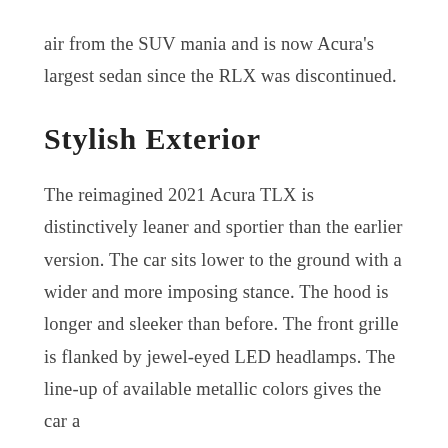air from the SUV mania and is now Acura's largest sedan since the RLX was discontinued.
Stylish Exterior
The reimagined 2021 Acura TLX is distinctively leaner and sportier than the earlier version. The car sits lower to the ground with a wider and more imposing stance. The hood is longer and sleeker than before. The front grille is flanked by jewel-eyed LED headlamps. The line-up of available metallic colors gives the car a